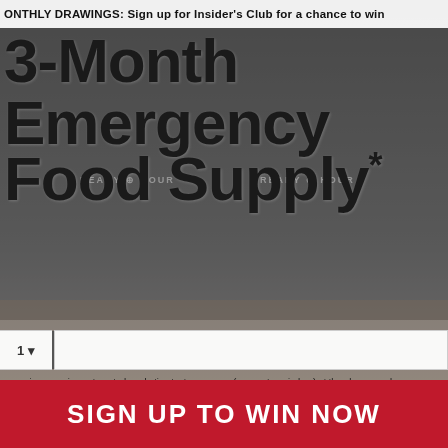MONTHLY DRAWINGS: Sign up for Insider's Club for a chance to win
3-Month Emergency Food Supply*
[Figure (photo): Background photo of Ready Hour emergency food supply buckets/containers stacked, with food items (soup, pasta, juice) visible in the lower portion. Faded/overlaid with semi-transparent styling.]
1
o receive recurring automated marketing text messages (e.g. cart reminders) at the phone number p... is not a condition to purchase. Msg & data rates may apply. Msg frequency varies. Reply HELP for help... ancel. View our Terms of Service and Privacy Policy. See MyPatriotSupply.com/3-month-sweepstakes fo...
SIGN UP TO WIN NOW